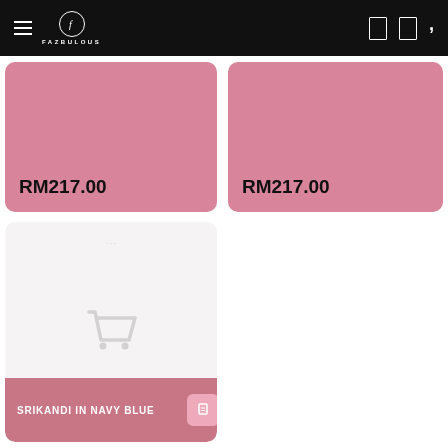FAZBULOUS navigation bar with hamburger menu, logo, and icons
RM217.00
RM217.00
[Figure (illustration): Light gray product card with shopping cart icon placeholder]
SRIKANDI IN NAVY BLUE